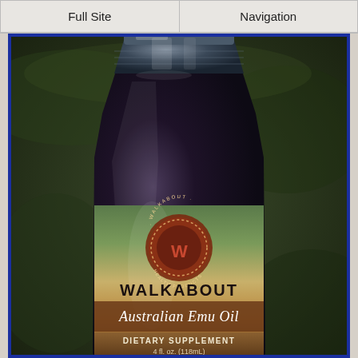Full Site | Navigation
[Figure (photo): Walkabout Australian Emu Oil dietary supplement bottle, 4 fl. oz. (118mL), shown against a blurred dark green outdoor background. The bottle has a dark cap and a label featuring the Walkabout Health Products logo (circular with dotted border and a W motif), the text WALKABOUT, Australian Emu Oil in script, DIETARY SUPPLEMENT, and 4 fl. oz. (118mL).]